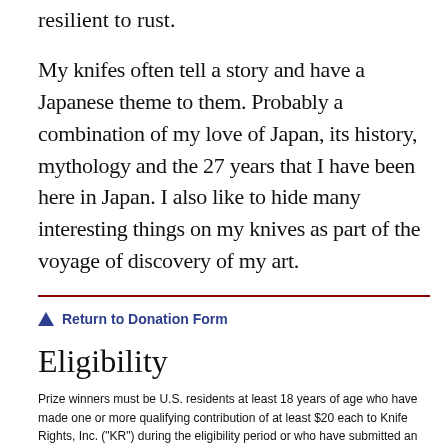resilient to rust.
My knifes often tell a story and have a Japanese theme to them. Probably a combination of my love of Japan, its history, mythology and the 27 years that I have been here in Japan. I also like to hide many interesting things on my knives as part of the voyage of discovery of my art.
Return to Donation Form
Eligibility
Prize winners must be U.S. residents at least 18 years of age who have made one or more qualifying contribution of at least $20 each to Knife Rights, Inc. ("KR") during the eligibility period or who have submitted an entry in accordance with the published rules. Winners of firearms, suppressors or knives must not be prohibited from owning or possessing them under applicable laws.
Rules: